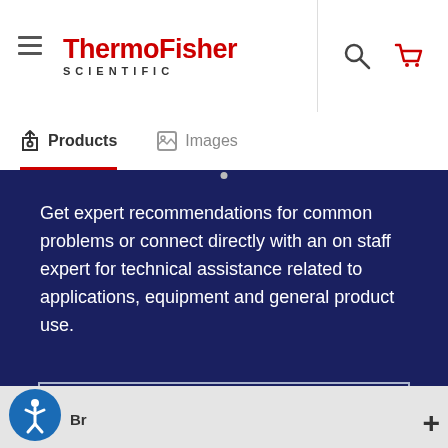[Figure (logo): ThermoFisher Scientific logo with hamburger menu, search icon, and cart icon in the header]
Products | Images
Get expert recommendations for common problems or connect directly with an on staff expert for technical assistance related to applications, equipment and general product use.
Contact tech support
Br